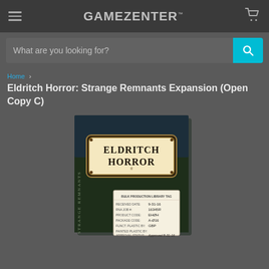GAMEZENTER
What are you looking for?
Home > Eldritch Horror: Strange Remnants Expansion (Open Copy C)
Eldritch Horror: Strange Remnants Expansion (Open Copy C)
[Figure (photo): Product box for Eldritch Horror: Strange Remnants Expansion showing front of game box with 'ELDRITCH HORROR' title and a production library tag sticker with details including received date 9-31-16, RNA job 16345R, product code EHOH, package code A-016, funct plastic by GBP, approval status: Approved 8-31-16]